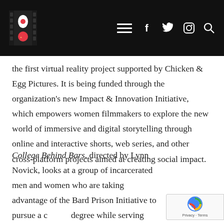[Chicken & Egg Pictures logo] [hamburger menu] [Facebook] [Twitter] [Instagram] [Search]
the first virtual reality project supported by Chicken & Egg Pictures. It is being funded through the organization's new Impact & Innovation Initiative, which empowers women filmmakers to explore the new world of immersive and digital storytelling through online and interactive shorts, web series, and other cross-platform projects aimed at creating social impact.
College Behind Bars, directed by Lynn Novick, looks at a group of incarcerated men and women who are taking advantage of the Bard Prison Initiative to pursue a college degree while serving their sentences.